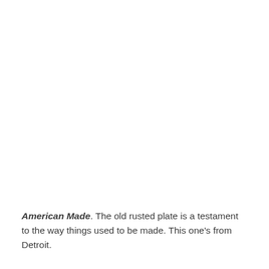American Made. The old rusted plate is a testament to the way things used to be made. This one's from Detroit.